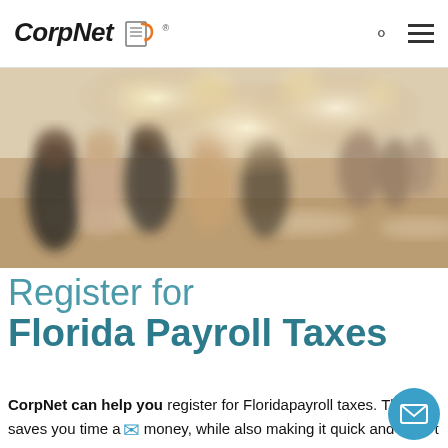CorpNet® [logo with search and hamburger menu icons]
[Figure (photo): Blurred background photo of people sitting at cafe/restaurant tables in a bright, warmly lit interior space]
Register for Florida Payroll Taxes
CorpNet can help you register for Floridapayroll taxes. This saves you time and money, while also making it quick and easy to